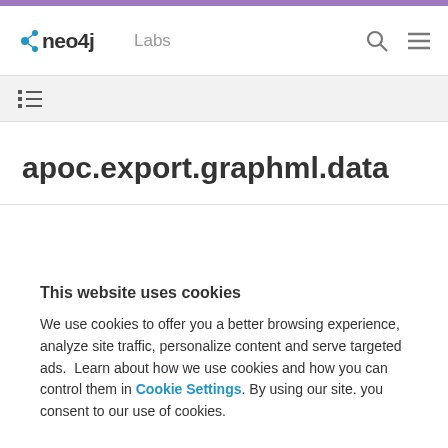neo4j Labs
apoc.export.graphml.data
This website uses cookies
We use cookies to offer you a better browsing experience, analyze site traffic, personalize content and serve targeted ads.  Learn about how we use cookies and how you can control them in Cookie Settings. By using our site, you consent to our use of cookies.